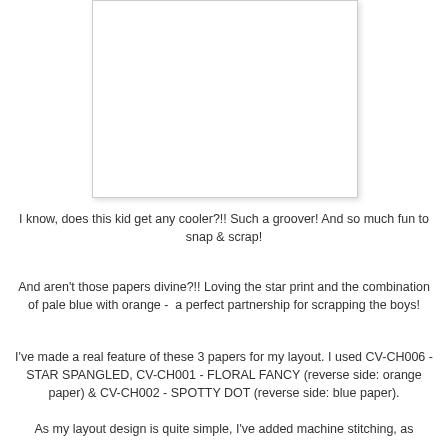[Figure (photo): A white rectangular photo placeholder with a light drop shadow border, positioned in the upper center of the page.]
I know, does this kid get any cooler?!! Such a groover! And so much fun to snap & scrap!
And aren't those papers divine?!! Loving the star print and the combination of pale blue with orange -  a perfect partnership for scrapping the boys!
I've made a real feature of these 3 papers for my layout. I used CV-CH006 - STAR SPANGLED, CV-CH001 - FLORAL FANCY (reverse side: orange paper) & CV-CH002 - SPOTTY DOT (reverse side: blue paper).
As my layout design is quite simple, I've added machine stitching, as